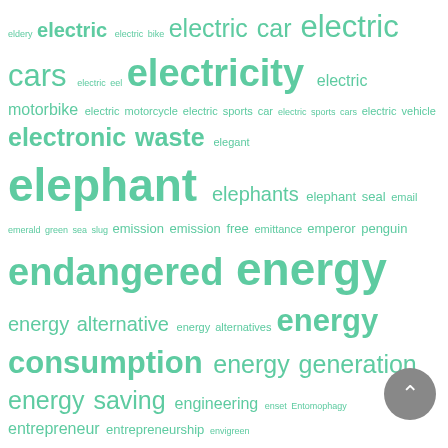[Figure (infographic): Word cloud / tag cloud of environmental and sustainability-related terms in various font sizes, all in mint/teal green color on white background. Larger words appear more frequently. Terms include: eldery, electric, electric bike, electric car, electric cars, electric eel, electricity, electric motorbike, electric motorcycle, electric sports car, electric sports cars, electric vehicle, electronic waste, elegant, elephant, elephants, elephant seal, email, emerald green sea slug, emission, emission free, emittance, emperor penguin, endangered, energy, energy alternative, energy alternatives, energy consumption, energy generation, energy saving, engineering, enset, Entomophagy, entrepreneur, entrepreneurship, envigreen, environment, environmentally friendly, environment friendly, erosion, esg, essential oil, eternal, eternal flame, ethical, ethical fashion, ethical perfume, ethical wedding dress, europe, Eurostar, everest, evolution, evoware, exercise, experiment, exploration, extant, extinct, extinction, extreme, fabric, face mask, face recognition, facing extinction, facts, fair trade, fall, falls, false banana, farm, farming, farmland, farmlands, farms, fashion, fast fashion, fast food, fatal fauna, faux fur, feather star, feeling, felix finkbeiner, fern, fertilizer, film, films, finch, finnish wolves, fire, fireflies, firefly, firewood, fish, fisherie, fishery, fishes, fishing, fishing ban, flame, flea, floating city, floating village, floating villages, flock, flood, flooded cave, floor, floss, flower, flowering dogwood, flowers, fly, foam, fog, fonio, food, food chain]